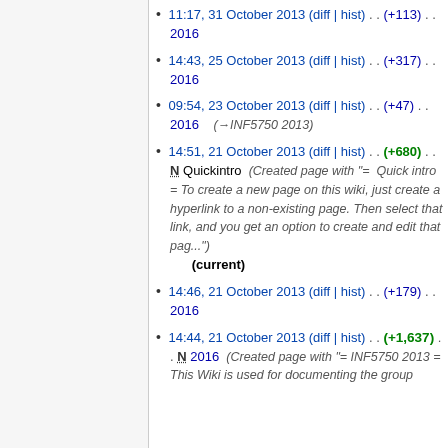11:17, 31 October 2013 (diff | hist) . . (+113) . . 2016
14:43, 25 October 2013 (diff | hist) . . (+317) . . 2016
09:54, 23 October 2013 (diff | hist) . . (+47) . . 2016  (→INF5750 2013)
14:51, 21 October 2013 (diff | hist) . . (+680) . . N Quickintro  (Created page with "= Quick intro = To create a new page on this wiki, just create a hyperlink to a non-existing page. Then select that link, and you get an option to create and edit that pag...") (current)
14:46, 21 October 2013 (diff | hist) . . (+179) . . 2016
14:44, 21 October 2013 (diff | hist) . . (+1,637) . . N 2016  (Created page with "= INF5750 2013 = This Wiki is used for documenting the group